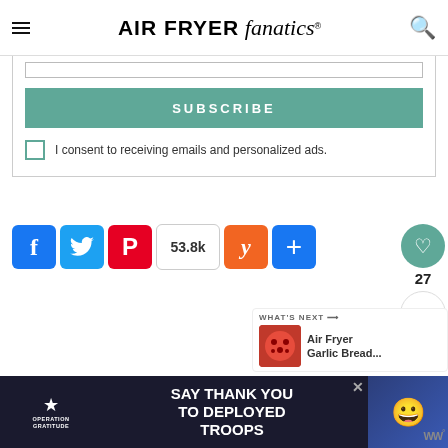AIR FRYER fanatics
SUBSCRIBE
I consent to receiving emails and personalized ads.
[Figure (screenshot): Social sharing buttons: Facebook, Twitter, Pinterest (53.8k shares), Yummly, and a plus/more button. On the right: heart/favorite button with count 27 and a share button.]
[Figure (screenshot): What's Next panel showing Air Fryer Garlic Bread... with a pizza thumbnail image.]
[Figure (screenshot): Advertisement banner: Operation Gratitude - SAY THANK YOU TO DEPLOYED TROOPS]